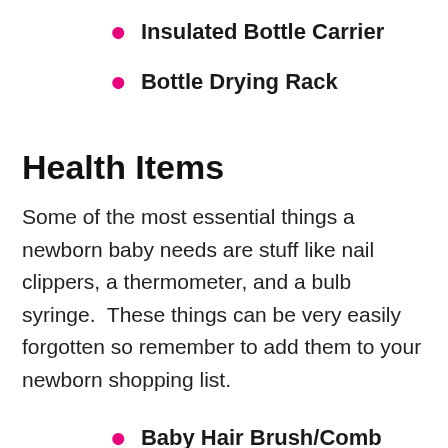Insulated Bottle Carrier
Bottle Drying Rack
Health Items
Some of the most essential things a newborn baby needs are stuff like nail clippers, a thermometer, and a bulb syringe.  These things can be very easily forgotten so remember to add them to your newborn shopping list.
Baby Hair Brush/Comb